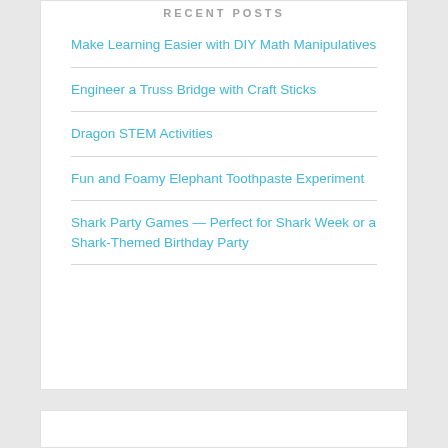Recent Posts
Make Learning Easier with DIY Math Manipulatives
Engineer a Truss Bridge with Craft Sticks
Dragon STEM Activities
Fun and Foamy Elephant Toothpaste Experiment
Shark Party Games — Perfect for Shark Week or a Shark-Themed Birthday Party